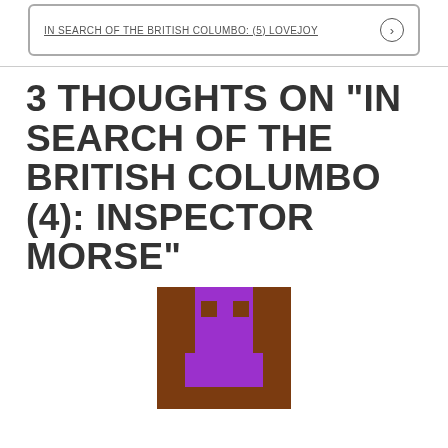IN SEARCH OF THE BRITISH COLUMBO: (5) LOVEJOY →
3 THOUGHTS ON "IN SEARCH OF THE BRITISH COLUMBO (4): INSPECTOR MORSE"
[Figure (illustration): Pixel art avatar showing a brown blocky figure with purple face/body elements resembling a simple face icon on a brown background]